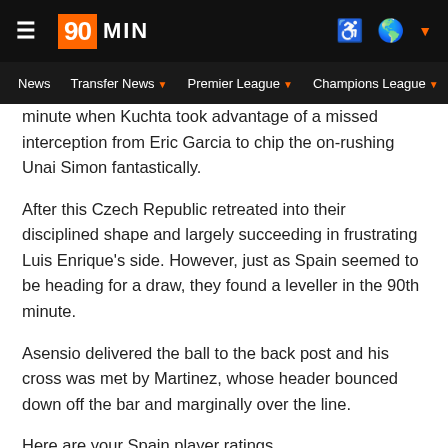90MIN — Navigation bar with News, Transfer News, Premier League, Champions League, Eu…
minute when Kuchta took advantage of a missed interception from Eric Garcia to chip the on-rushing Unai Simon fantastically.
After this Czech Republic retreated into their disciplined shape and largely succeeding in frustrating Luis Enrique's side. However, just as Spain seemed to be heading for a draw, they found a leveller in the 90th minute.
Asensio delivered the ball to the back post and his cross was met by Martinez, whose header bounced down off the bar and marginally over the line.
Here are your Spain player ratings...
Spain (4-3-3)